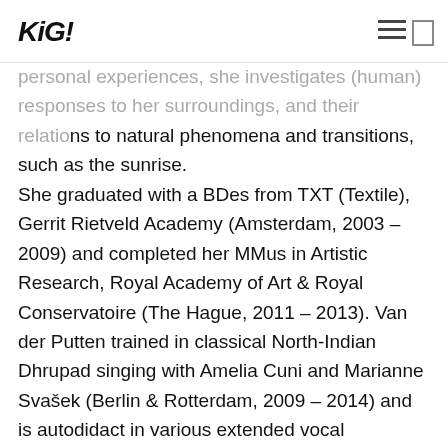KiG!
personal experiences, she investigates (human) responses to her surroundings, and their relations to natural phenomena and transitions, such as the sunrise. She graduated with a BDes from TXT (Textile), Gerrit Rietveld Academy (Amsterdam, 2003 – 2009) and completed her MMus in Artistic Research, Royal Academy of Art & Royal Conservatoire (The Hague, 2011 – 2013). Van der Putten trained in classical North-Indian Dhrupad singing with Amelia Cuni and Marianne Svašek (Berlin & Rotterdam, 2009 – 2014) and is autodidact in various extended vocal techniques. She is co-curator of the Aloardi Exchange Programme, inviting Peruvian artists to present their work in the Schengen Area (2016 – 2017). The project 'Invisible Architecture' with Christian Galarreta, for which they published a vinyl in 2014, has been